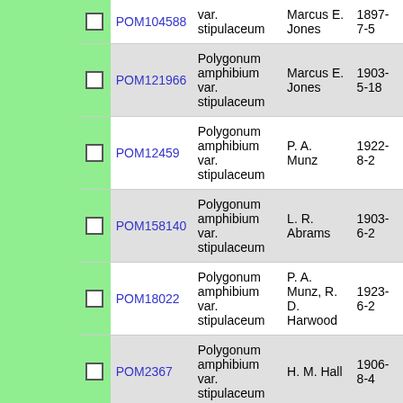|  | ID | Name | Collector | Date |
| --- | --- | --- | --- | --- |
| ☐ | POM104588 | Polygonum amphibium var. stipulaceum | Marcus E. Jones | 1897-7-5 |
| ☐ | POM121966 | Polygonum amphibium var. stipulaceum | Marcus E. Jones | 1903-5-18 |
| ☐ | POM12459 | Polygonum amphibium var. stipulaceum | P. A. Munz | 1922-8-2 |
| ☐ | POM158140 | Polygonum amphibium var. stipulaceum | L. R. Abrams | 1903-6-2 |
| ☐ | POM18022 | Polygonum amphibium var. stipulaceum | P. A. Munz, R. D. Harwood | 1923-6-2 |
| ☐ | POM2367 | Polygonum amphibium var. stipulaceum | H. M. Hall | 1906-8-4 |